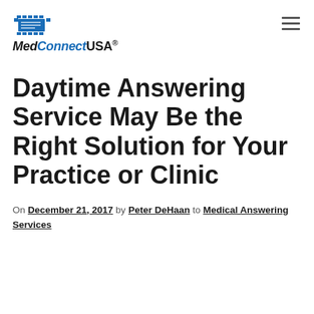MedConnectUSA.
Daytime Answering Service May Be the Right Solution for Your Practice or Clinic
On December 21, 2017 by Peter DeHaan to Medical Answering Services